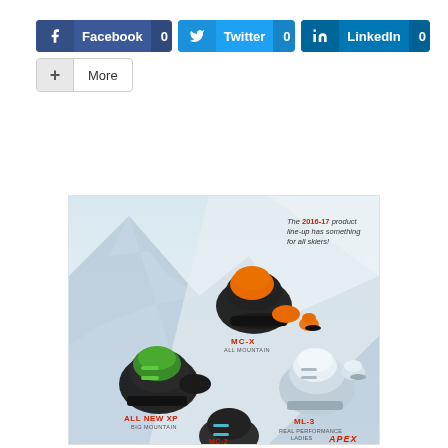[Figure (infographic): Social share buttons: Facebook (0), Twitter (0), LinkedIn (0), and a More button]
[Figure (photo): Product advertisement image showing ski boots: MC-X All Mountain (black/orange), All New XP Big Mountain (black/green), ML-3 Real Performance Ladies (white/silver), MC-2, and small junior boots. Text reads: The 2016-17 product line-up has something for all skiers! APEX branding visible.]